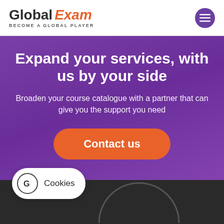Global Exam — BECOME A GLOBAL PLAYER
Expand your services, with us by your side
Broaden your course catalogue with a partner that can give you the support you need
Contact us
[Figure (screenshot): Dark video/media section at the bottom of the page showing a partial arc/circle graphic]
Cookies